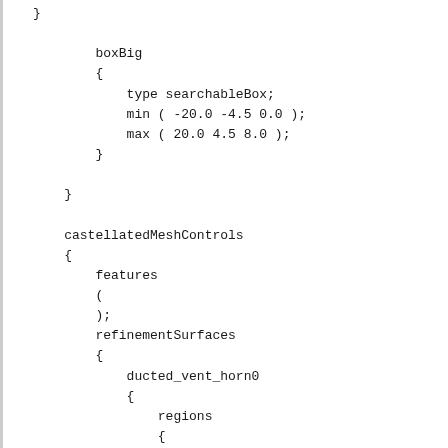}

        boxBig
        {
            type searchableBox;
            min ( -20.0 -4.5 0.0 );
            max ( 20.0 4.5 8.0 );
        }

    }

    castellatedMeshControls
    {
        features
        (
        );
        refinementSurfaces
        {
            ducted_vent_horn0
            {
                regions
                {
                }

                level ( 3 4 );
            }

        }

        refinementRegions
        {